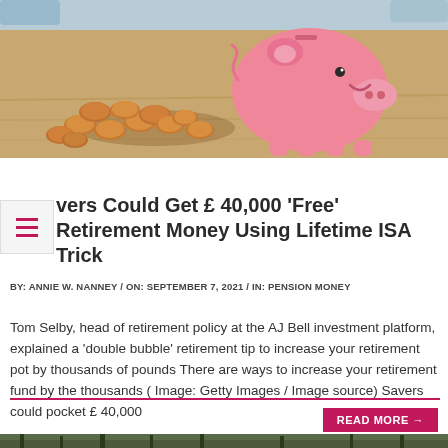[Figure (photo): Pink piggy bank surrounded by copper coins on a wooden surface]
Savers Could Get £ 40,000 'Free' Retirement Money Using Lifetime ISA Trick
BY: ANNIE W. NANNEY / ON: SEPTEMBER 7, 2021 / IN: PENSION MONEY
Tom Selby, head of retirement policy at the AJ Bell investment platform, explained a 'double bubble' retirement tip to increase your retirement pot by thousands of pounds There are ways to increase your retirement fund by the thousands ( Image: Getty Images / Image source) Savers could pocket £ 40,000
[Figure (photo): Forest or woodland scene with bare trees and dark foliage]